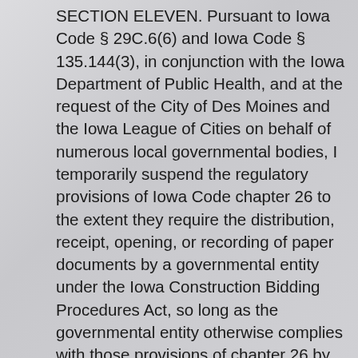SECTION ELEVEN. Pursuant to Iowa Code § 29C.6(6) and Iowa Code § 135.144(3), in conjunction with the Iowa Department of Public Health, and at the request of the City of Des Moines and the Iowa League of Cities on behalf of numerous local governmental bodies, I temporarily suspend the regulatory provisions of Iowa Code chapter 26 to the extent they require the distribution, receipt, opening, or recording of paper documents by a governmental entity under the Iowa Construction Bidding Procedures Act, so long as the governmental entity otherwise complies with those provisions of chapter 26 by electronic means, including but not limited to the use of an electronic public bidding service.
ELECTRONIC SEARCH WARRANT RETURNS OF SERVICE
SECTION TWELVE. Pursuant to Iowa Code §